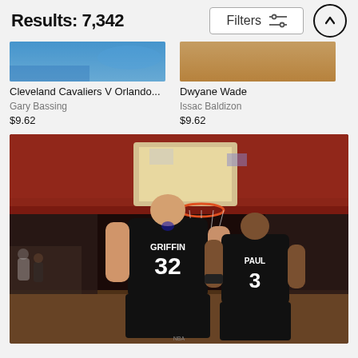Results: 7,342
[Figure (screenshot): Filters button with sliders icon and an up-arrow circle button in the top navigation bar]
[Figure (photo): Partial thumbnail of Cleveland Cavaliers V Orlando basketball game photo]
Cleveland Cavaliers V Orlando...
Gary Bassing
$9.62
[Figure (photo): Partial thumbnail of Dwyane Wade photo]
Dwyane Wade
Issac Baldizon
$9.62
[Figure (photo): NBA basketball photo showing two LA Clippers players from behind: Griffin #32 and Paul #3, standing on court with crowd and hoop in background]